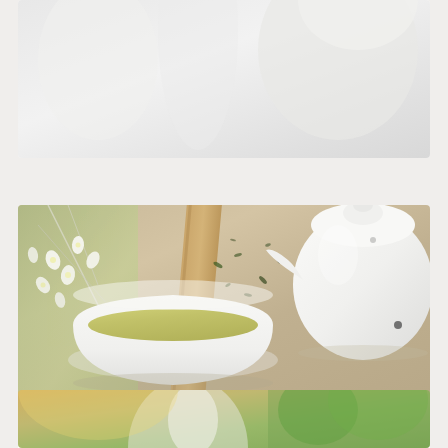[Figure (photo): Partial top of a card showing a faded/white background image, likely tea-related, mostly white/grey tones cropped at top]
[Figure (photo): Photo of green tea in a white ceramic bowl cup with loose tea leaves scattered on a burlap/linen cloth, white teapot visible on right, white flowers and branches on the left, wooden stick/spoon in center]
What is the Best Tea to Drink for Weight Loss
[Figure (photo): Partial bottom card showing a person in a white t-shirt outdoors with green trees in bright sunlight background]